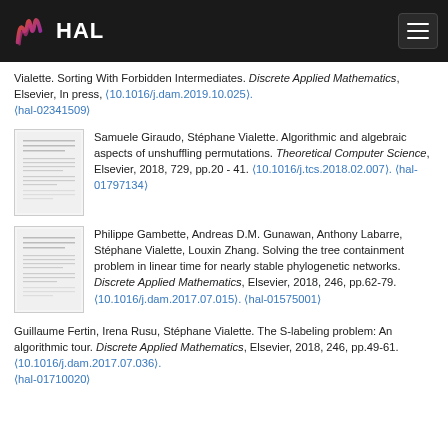HAL
Vialette. Sorting With Forbidden Intermediates. Discrete Applied Mathematics, Elsevier, In press, ⟨10.1016/j.dam.2019.10.025⟩. ⟨hal-02341509⟩
Samuele Giraudo, Stéphane Vialette. Algorithmic and algebraic aspects of unshuffling permutations. Theoretical Computer Science, Elsevier, 2018, 729, pp.20 - 41. ⟨10.1016/j.tcs.2018.02.007⟩. ⟨hal-01797134⟩
Philippe Gambette, Andreas D.M. Gunawan, Anthony Labarre, Stéphane Vialette, Louxin Zhang. Solving the tree containment problem in linear time for nearly stable phylogenetic networks. Discrete Applied Mathematics, Elsevier, 2018, 246, pp.62-79. ⟨10.1016/j.dam.2017.07.015⟩. ⟨hal-01575001⟩
Guillaume Fertin, Irena Rusu, Stéphane Vialette. The S-labeling problem: An algorithmic tour. Discrete Applied Mathematics, Elsevier, 2018, 246, pp.49-61. ⟨10.1016/j.dam.2017.07.036⟩. ⟨hal-01710020⟩